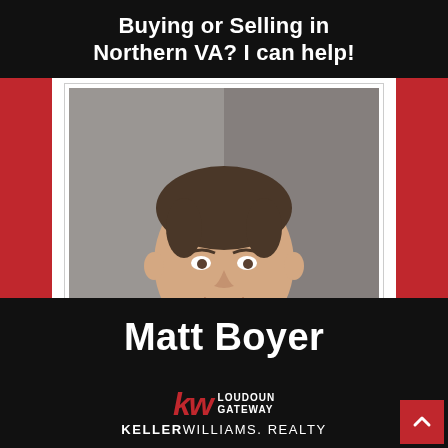Buying or Selling in Northern VA? I can help!
[Figure (photo): Professional headshot of Matt Boyer, a man in a white dress shirt and red tie, smiling, against a grey background]
Matt Boyer
[Figure (logo): Keller Williams KW logo in red italic with 'LOUDOUN GATEWAY' text beside it and 'KELLERWILLIAMS. REALTY' below]